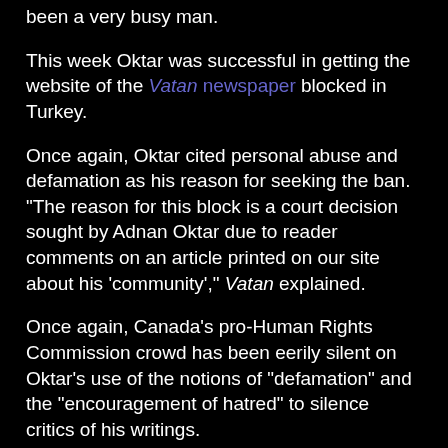been a very busy man.
This week Oktar was successful in getting the website of the Vatan newspaper blocked in Turkey.
Once again, Oktar cited personal abuse and defamation as his reason for seeking the ban. "The reason for this block is a court decision sought by Adnan Oktar due to reader comments on an article printed on our site about his 'community'," Vatan explained.
Once again, Canada's pro-Human Rights Commission crowd has been eerily silent on Oktar's use of the notions of "defamation" and the "encouragement of hatred" to silence critics of his writings.
Some of the more intellectually impoverished members of the pro-HRC crowd have offered characteristically worthless commentary on the topic.
But this predominating silence is so eery because Canada has its own equivalent to Oktar -- Richard Warman, a